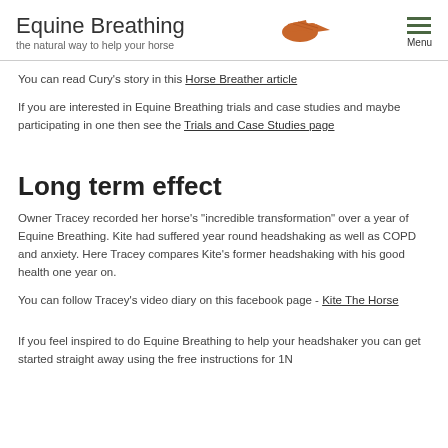Equine Breathing — the natural way to help your horse
You can read Cury's story in this Horse Breather article
If you are interested in Equine Breathing trials and case studies and maybe participating in one then see the Trials and Case Studies page
Long term effect
Owner Tracey recorded her horse's "incredible transformation" over a year of Equine Breathing. Kite had suffered year round headshaking as well as COPD and anxiety. Here Tracey compares Kite's former headshaking with his good health one year on.
You can follow Tracey's video diary on this facebook page - Kite The Horse
If you feel inspired to do Equine Breathing to help your headshaker you can get started straight away using the free instructions for 1N